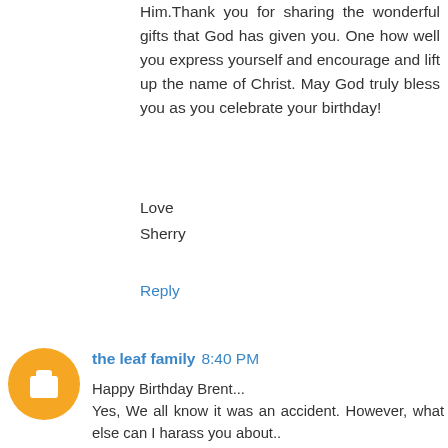Him.Thank you for sharing the wonderful gifts that God has given you. One how well you express yourself and encourage and lift up the name of Christ. May God truly bless you as you celebrate your birthday!
Love
Sherry
Reply
the leaf family 8:40 PM
Happy Birthday Brent...
Yes, We all know it was an accident. However, what else can I harass you about..
By the way I'm sure BJ tried to pick my nose a few times.. I can remember him always being the last one at the pizza table or dessert table he always had a conversation subject... Even after the other boys would leave the table or room he would continue until I heard the entire story...
By the way I am one of those 30... something... students...Thank You so much for investing your time..
We love and appreciate you both...